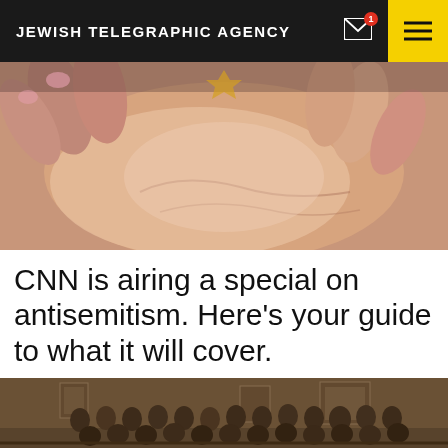JEWISH TELEGRAPHIC AGENCY
[Figure (photo): Close-up photograph of open human hands with palms facing up, warm skin tones, showing a small Star of David charm]
CNN is airing a special on antisemitism. Here’s your guide to what it will cover.
[Figure (photo): Sepia-toned historical group photograph of many formally dressed people gathered in a room with framed pictures on walls, early 20th century style]